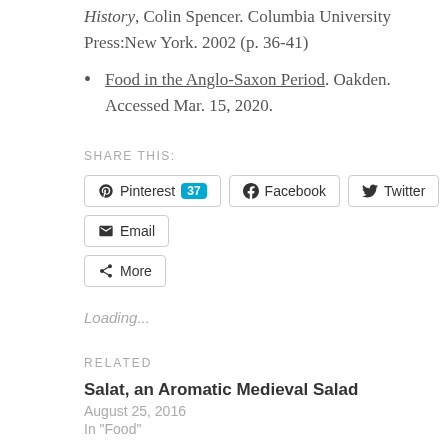History, Colin Spencer. Columbia University Press:New York. 2002 (p. 36-41)
Food in the Anglo-Saxon Period. Oakden. Accessed Mar. 15, 2020.
SHARE THIS:
[Figure (screenshot): Social sharing buttons: Pinterest (37), Facebook, Twitter, Email, More]
Loading...
RELATED
Salat, an Aromatic Medieval Salad
August 25, 2016
In "Food"